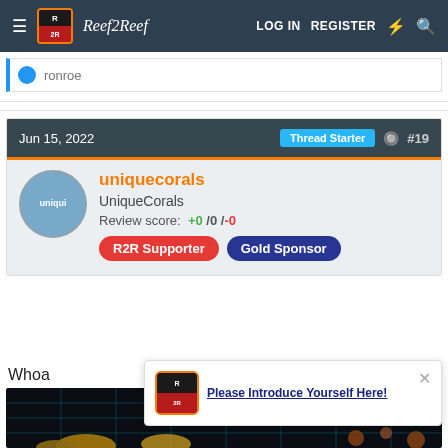LOG IN  REGISTER
ronroe
Jun 15, 2022  Thread Starter  #19
uniquecorals
UniqueCorals
Review score: +0 /0 /-0
R2R Supporter  Gold Sponsor
Whoa
[Figure (photo): Coral aquarium photo with blue grid overlay showing colorful corals under aquarium lighting]
Please Introduce Yourself Here!